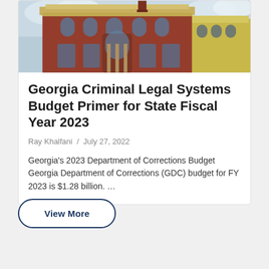[Figure (photo): A red brick government building with arched windows and ornate architectural details against a cloudy sky]
Georgia Criminal Legal Systems Budget Primer for State Fiscal Year 2023
Ray Khalfani  /  July 27, 2022
Georgia's 2023 Department of Corrections Budget Georgia Department of Corrections (GDC) budget for FY 2023 is $1.28 billion. …
View More